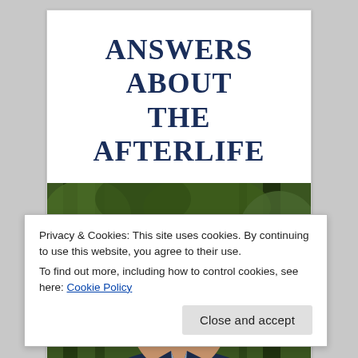Answers about the Afterlife
[Figure (photo): Author photo: middle-aged man smiling, wearing a dark blazer over a light shirt, outdoors with green foliage in the background]
Privacy & Cookies: This site uses cookies. By continuing to use this website, you agree to their use.
To find out more, including how to control cookies, see here: Cookie Policy
Close and accept
Bob Olson